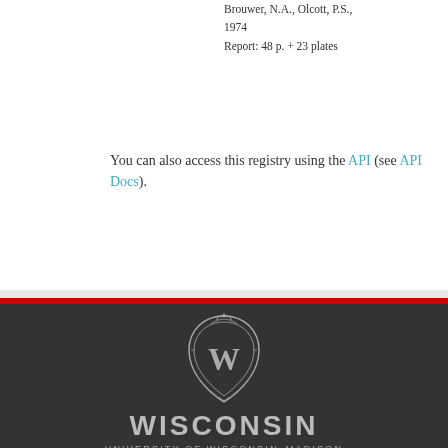Brouwer, N.A., Olcott, P.S.,
1974
Report: 48 p. + 23 plates
You can also access this registry using the API (see API Docs).
[Figure (logo): University of Wisconsin-Madison logo with crest and text WISCONSIN UNIVERSITY OF WISCONSIN-MADISON on dark background]